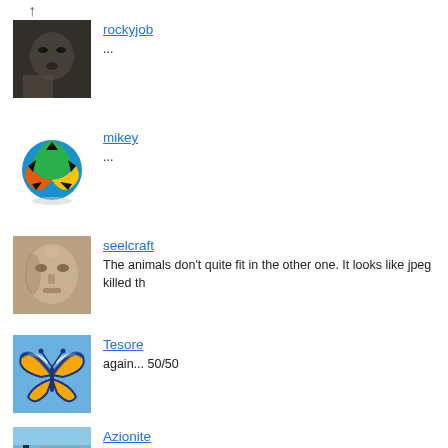[Figure (photo): Thumbnail image - grainy black and white photo of a baby face]
rockyjob
...
[Figure (photo): Thumbnail image - colorful soccer/football ball]
mikey
...
[Figure (photo): Thumbnail image - stone face sculpture]
seelcraft
The animals don't quite fit in the other one. It looks like jpeg killed th...
[Figure (photo): Thumbnail image - orange and blue butterfly logo]
Tesore
again... 50/50
[Figure (photo): Thumbnail image - sculpture and building scene]
Azionite
poor mouse!